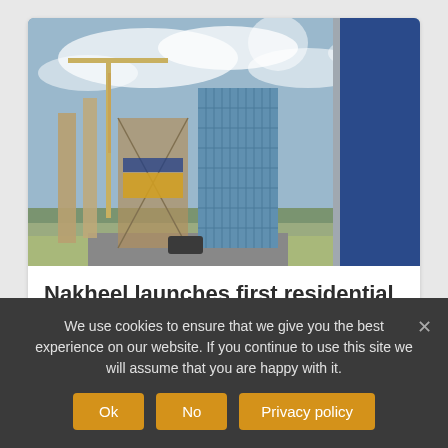[Figure (photo): Construction site with a blue glass skyscraper under construction and a large blue Nakheel banner/flag on the right side. Sky with clouds in background.]
Nakheel launches first residential project in Dragon City
4 years ago
We use cookies to ensure that we give you the best experience on our website. If you continue to use this site we will assume that you are happy with it.